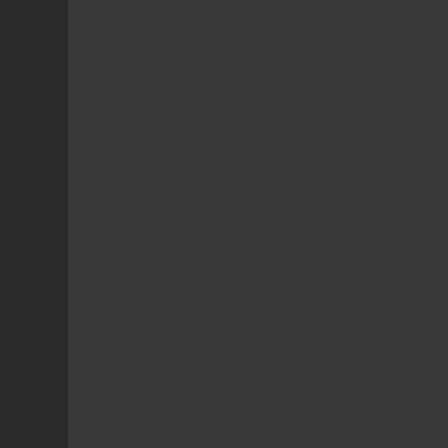What do you do if someone you care about can't make the decision to quit? You or your friend may need getting help but are too embarrassed or worried about getting in trouble. The good news is that you're not one of your friends. The best place to start is someone to listen is one of the first steps, even though it might be hard getting star
Generalization of Nationa... Theodore, Alabama in the...
Ages between 12 and 17
Any Illicit Drug
Marijuana / Hash
Cocaine
Crack/Cocaine
Heroin
LSD
PCP
Ecstasy/MDMA
Inhalants
Pain Medication
Tranquilizers
Stimulants
Methamphetami...
Sedatives
Ages between 18 and 25
Any Illicit Drug
Marijuana / Hash
Cocaine